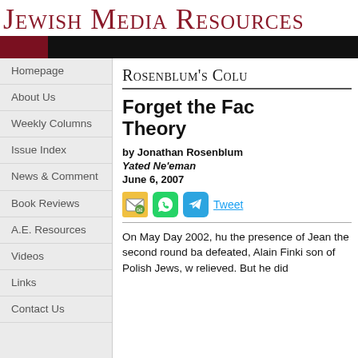Jewish Media Resources
Homepage
About Us
Weekly Columns
Issue Index
News & Comment
Book Reviews
A.E. Resources
Videos
Links
Contact Us
Rosenblum's Colu
Forget the Fac Theory
by Jonathan Rosenblum
Yated Ne'eman
June 6, 2007
On May Day 2002, hu the presence of Jean the second round ba defeated, Alain Finki son of Polish Jews, w relieved. But he did